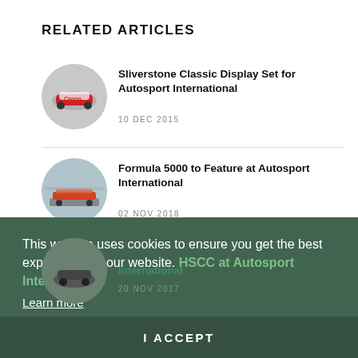RELATED ARTICLES
[Figure (photo): Circular thumbnail of a red Canon racing car]
Sliverstone Classic Display Set for Autosport International
10 DEC 2015
[Figure (photo): Circular thumbnail of Formula 5000 racing cars on track]
Formula 5000 to Feature at Autosport International
02 NOV 2018
[Figure (photo): Circular thumbnail of HSCC racing car]
HSCC at Autosport International
20 NOV 2017
[Figure (photo): Circular thumbnail of Brabham BT2 racing car]
ICYMI: Video - Lapping Pau in a Brabham BT2!
This website uses cookies to ensure you get the best experience on our website.
Learn more
I ACCEPT